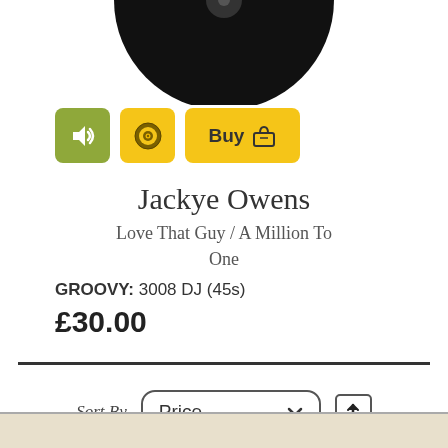[Figure (illustration): Partial black vinyl record circle cropped at top of page]
[Figure (other): Row of three buttons: olive/green speaker button, yellow disc/music button, yellow Buy button with basket icon]
Jackye Owens
Love That Guy / A Million To One
GROOVY: 3008 DJ (45s)
£30.00
Sort By  Price ▾  ↑